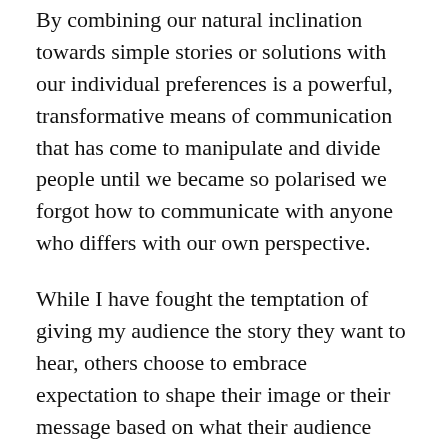By combining our natural inclination towards simple stories or solutions with our individual preferences is a powerful, transformative means of communication that has come to manipulate and divide people until we became so polarised we forgot how to communicate with anyone who differs with our own perspective.
While I have fought the temptation of giving my audience the story they want to hear, others choose to embrace expectation to shape their image or their message based on what their audience desires.
Con artists do this every day, and it has worked for centuries.
But whenever I see the tools of scammers being employed to such devastating effect in all walks of life, I can't help but wonder if I should have just invented a more appealing backstory and reaped the rewards.